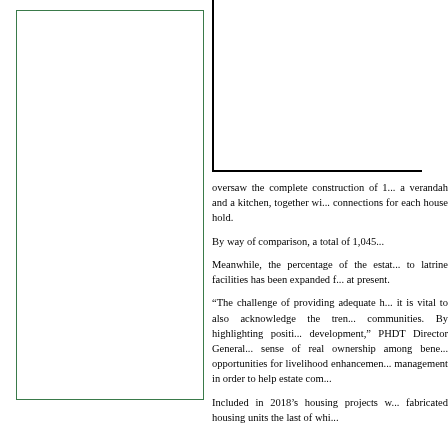[Figure (photo): Photograph or image placeholder in left column, framed with green border]
[Figure (other): Partial box/frame element at top right column]
oversaw the complete construction of 1... a verandah and a kitchen, together with connections for each house hold.
By way of comparison, a total of 1,045...
Meanwhile, the percentage of the estate... to latrine facilities has been expanded f... at present.
“The challenge of providing adequate h... it is vital to also acknowledge the tren... communities. By highlighting positi... development,” PHDT Director General... sense of real ownership among bene... opportunities for livelihood enhancemen... management in order to help estate com...
Included in 2018’s housing projects w... fabricated housing units the last of whi...